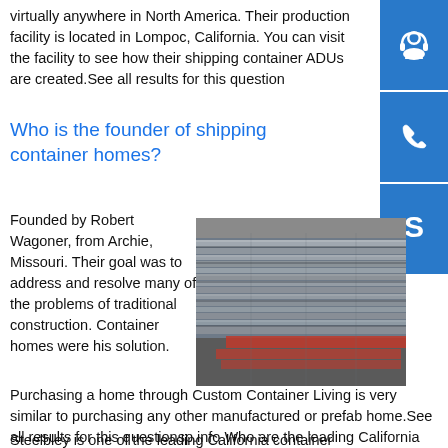virtually anywhere in North America. Their production facility is located in Lompoc, California. You can visit the facility to see how their shipping container ADUs are created.See all results for this question
Who is the founder of shipping container homes?
Founded by Robert Wagoner, from Archie, Missouri. Their goal was to address and resolve many of the problems of traditional construction. Container homes were his solution. Purchasing a home through Custom Container Living is very similar to purchasing any other manufactured or prefab home.See all results for this questionsp.info Who are the leading California container home builders?
Steelbley is one of the leading California container home
[Figure (photo): Stack of metal steel beams/channels stored in an industrial setting, with red markings visible on some pieces.]